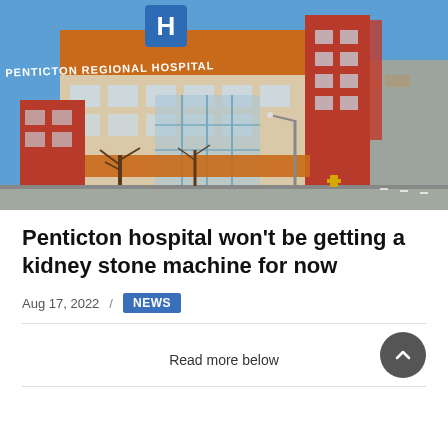[Figure (photo): Exterior photo of Penticton Regional Hospital, a modern multi-story building with orange and red cladding, large windows, a prominent 'H' hospital sign on a blue background, and the text 'PENTICTON REGIONAL HOSPITAL' on the facade. Trees without leaves visible in foreground, clear blue sky.]
Penticton hospital won't be getting a kidney stone machine for now
Aug 17, 2022  /  NEWS
Read more below